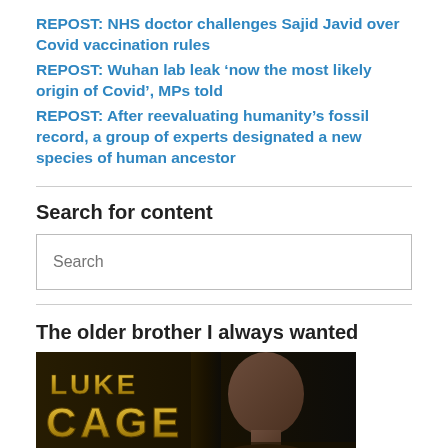REPOST: NHS doctor challenges Sajid Javid over Covid vaccination rules
REPOST: Wuhan lab leak ‘now the most likely origin of Covid’, MPs told
REPOST: After reevaluating humanity’s fossil record, a group of experts designated a new species of human ancestor
Search for content
Search
The older brother I always wanted
[Figure (photo): Luke Cage movie/TV show promotional image showing the Luke Cage logo in gold block letters on the left and a man's face on the right against a dark background]